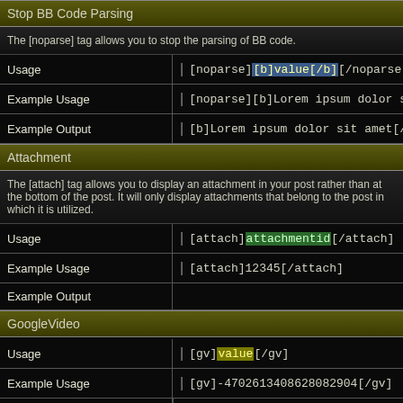Stop BB Code Parsing
The [noparse] tag allows you to stop the parsing of BB code.
|  |  |
| --- | --- |
| Usage | [noparse][b]value[/b][/noparse] |
| Example Usage | [noparse][b]Lorem ipsum dolor sit amet[/b][/noparse] |
| Example Output | [b]Lorem ipsum dolor sit amet[/b] |
Attachment
The [attach] tag allows you to display an attachment in your post rather than at the bottom of the post. It will only display attachments that belong to the post in which it is utilized.
|  |  |
| --- | --- |
| Usage | [attach]attachmentid[/attach] |
| Example Usage | [attach]12345[/attach] |
| Example Output |  |
GoogleVideo
|  |  |
| --- | --- |
| Usage | [gv]value[/gv] |
| Example Usage | [gv]-4702613408628082904[/gv] |
| Example Output |  |